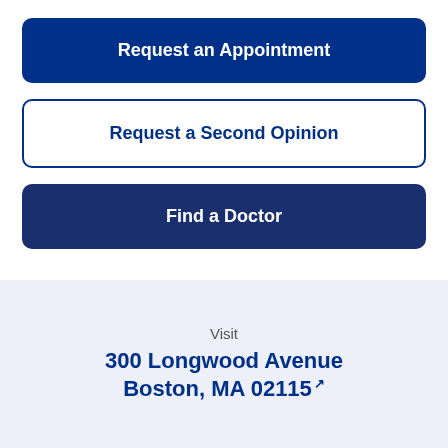Request an Appointment
Request a Second Opinion
Find a Doctor
Visit
300 Longwood Avenue
Boston, MA 02115